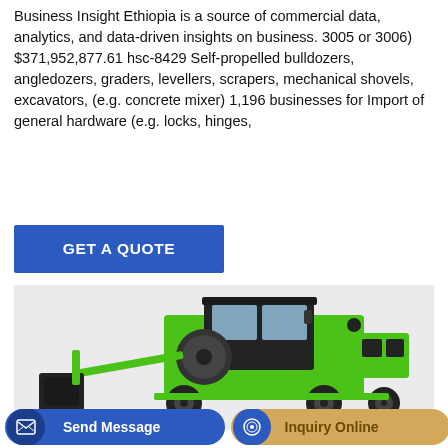Business Insight Ethiopia is a source of commercial data, analytics, and data-driven insights on business. 3005 or 3006) $371,952,877.61 hsc-8429 Self-propelled bulldozers, angledozers, graders, levellers, scrapers, mechanical shovels, excavators, (e.g. concrete mixer) 1,196 businesses for Import of general hardware (e.g. locks, hinges,
[Figure (other): Blue button with text GET A QUOTE]
[Figure (photo): A green self-propelled concrete mixer machine with black cab, large drum, front loading bucket, and off-road tires on a light grey background]
[Figure (other): Bottom bar with two buttons: Send Message (blue) and Inquiry Online (gold/tan)]